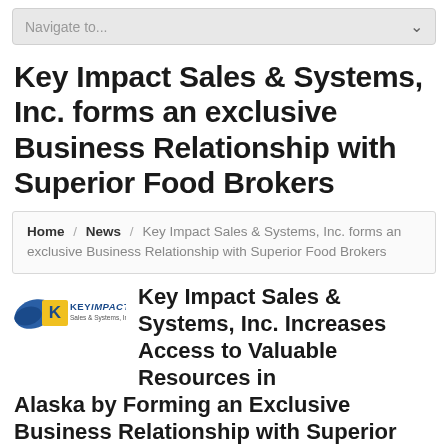Navigate to...
Key Impact Sales & Systems, Inc. forms an exclusive Business Relationship with Superior Food Brokers
Home / News / Key Impact Sales & Systems, Inc. forms an exclusive Business Relationship with Superior Food Brokers
[Figure (logo): Key Impact Sales & Systems, Inc. logo — blue eagle and yellow square with 'K', text reads KeyImpact Sales & Systems, Inc.]
Key Impact Sales & Systems, Inc. Increases Access to Valuable Resources in Alaska by Forming an Exclusive Business Relationship with Superior Food Brokers